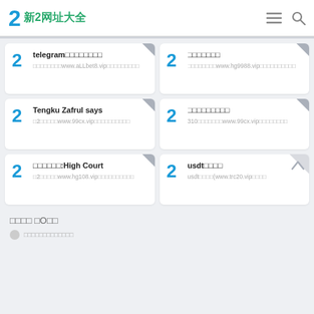新2网址大全
telegram□□□□□□□□ □□□□□□□□www.aLLbet8.vip□□□□□□□□□
□□□□□□□ □□□□□□□□www.hg9988.vip□□□□□□□□□□
Tengku Zafrul says □2□□□□□www.99cx.vip□□□□□□□□□□
□□□□□□□□□ 310□□□□□□□www.99cx.vip□□□□□□□□
□□□□□□:High Court □2□□□□□www.hg108.vip□□□□□□□□□□
usdt□□□□ usdt□□□□(www.trc20.vip□□□□
□□□□ □O□□
□□□□□□□□□□□□□